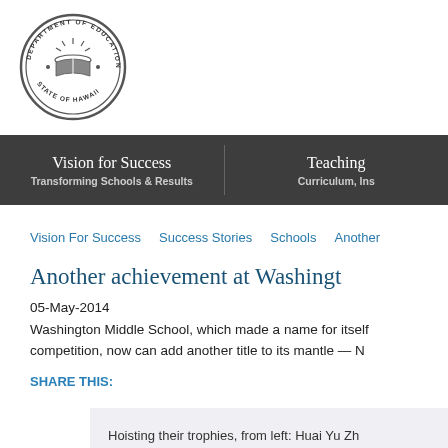[Figure (logo): Hawaii Department of Education circular seal/logo]
Vision for Success
Transforming Schools & Results
Teaching
Curriculum, Ins
Vision For Success | Success Stories | Schools | Another
Another achievement at Washingt
05-May-2014
Washington Middle School, which made a name for itself in competition, now can add another title to its mantle — N
SHARE THIS:
Hoisting their trophies, from left: Huai Yu Zh and Patrick Perry.